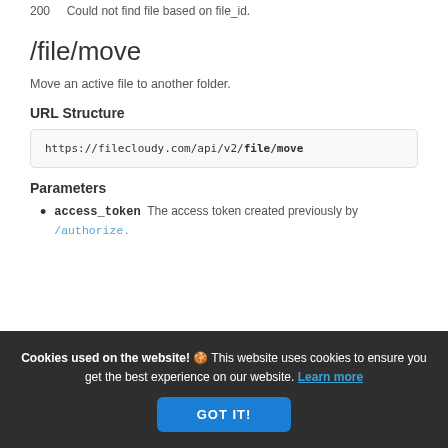200    Could not find file based on file_id.
/file/move
Move an active file to another folder.
URL Structure
https://filecloudy.com/api/v2/file/move
Parameters
access_token  The access token created previously by /authorize.
Cookies used on the website! 🍪 This website uses cookies to ensure you get the best experience on our website. Learn more
GOT IT!